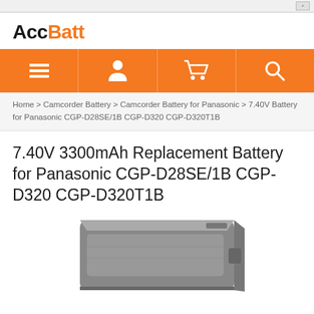AccBatt
[Figure (other): Navigation bar with four orange icon buttons: list/menu icon, user/person icon, shopping cart icon, and search/magnify icon]
Home > Camcorder Battery > Camcorder Battery for Panasonic > 7.40V Battery for Panasonic CGP-D28SE/1B CGP-D320 CGP-D320T1B
7.40V 3300mAh Replacement Battery for Panasonic CGP-D28SE/1B CGP-D320 CGP-D320T1B
[Figure (photo): Photo of a rectangular gray camcorder battery (replacement battery for Panasonic), shown at a slight angle, partially cut off at the bottom of the page]